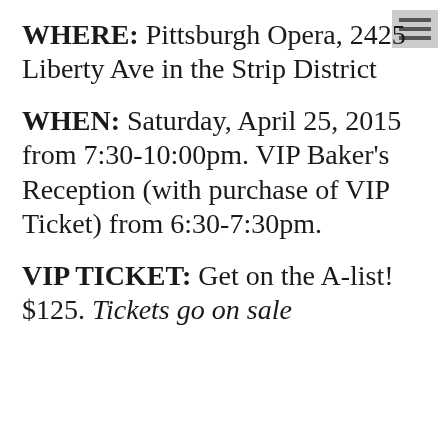WHERE: Pittsburgh Opera, 2425 Liberty Ave in the Strip District
WHEN: Saturday, April 25, 2015 from 7:30-10:00pm. VIP Baker's Reception (with purchase of VIP Ticket) from 6:30-7:30pm.
VIP TICKET: Get on the A-list! $125. Tickets go on sale